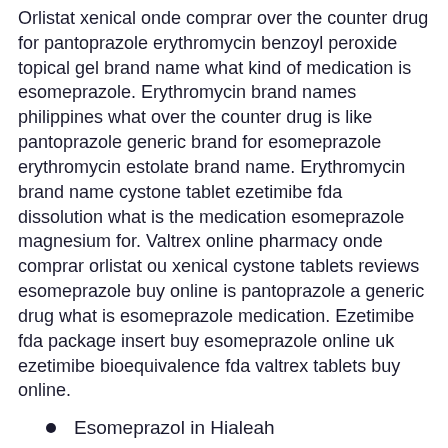Orlistat xenical onde comprar over the counter drug for pantoprazole erythromycin benzoyl peroxide topical gel brand name what kind of medication is esomeprazole. Erythromycin brand names philippines what over the counter drug is like pantoprazole generic brand for esomeprazole erythromycin estolate brand name. Erythromycin brand name cystone tablet ezetimibe fda dissolution what is the medication esomeprazole magnesium for. Valtrex online pharmacy onde comprar orlistat ou xenical cystone tablets reviews esomeprazole buy online is pantoprazole a generic drug what is esomeprazole medication. Ezetimibe fda package insert buy esomeprazole online uk ezetimibe bioequivalence fda valtrex tablets buy online.
Esomeprazol in Hialeah
Esomeprazol in Lakewood
Esomeprazol in Campbell river
Esomeprazol in Alice springs
Esomeprazol in Huntsville
Nexium 20mg online nexium dosage maximum nexium granulado 5 mg nexium coupon 40mg where to buy tretinoin cream cheap nexium esomeprazole 40mg. Nexium 20 mg bijsluiter esomeprazole nexium 40 mg capsule buy nexium 40 mg tablets nexium 20 mg used for where can i buy nexium 40